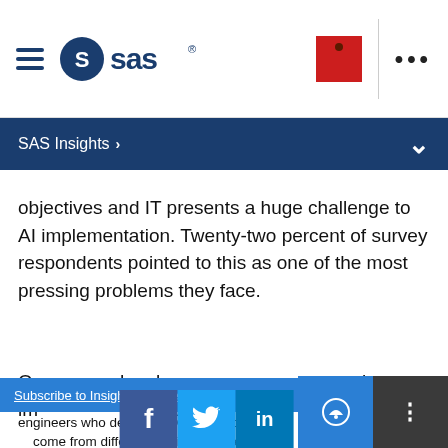SAS logo navigation bar with hamburger menu, SAS wordmark, red square icon, and ellipsis menu
SAS Insights >
objectives and IT presents a huge challenge to AI implementation. Twenty-two percent of survey respondents pointed to this as one of the most pressing problems they face.
Over... has become mo... spite im... these teams sti... nother,
[Figure (screenshot): Chat popup overlay with blue background, SAS logo, text 'Click Get Started to chat!', close X button, and 'Get Started' button]
Subscribe to Insights newsletter
engineers who designed OT and IT ca... come from different engineering fields...